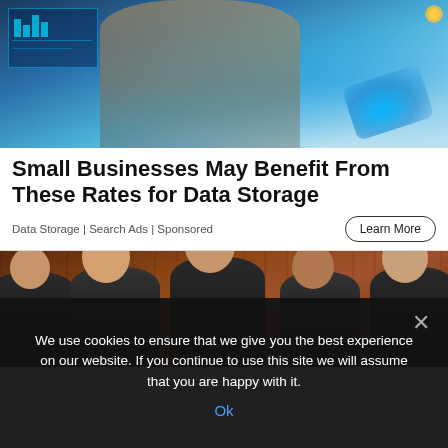[Figure (photo): Technology/data visualization advertisement image showing a woman interacting with holographic digital interfaces and glowing tablet]
Small Businesses May Benefit From These Rates for Data Storage
Data Storage | Search Ads | Sponsored
Learn More
[Figure (photo): Group photo of five business professionals standing in front of a wood-paneled wall]
We use cookies to ensure that we give you the best experience on our website. If you continue to use this site we will assume that you are happy with it.
Ok